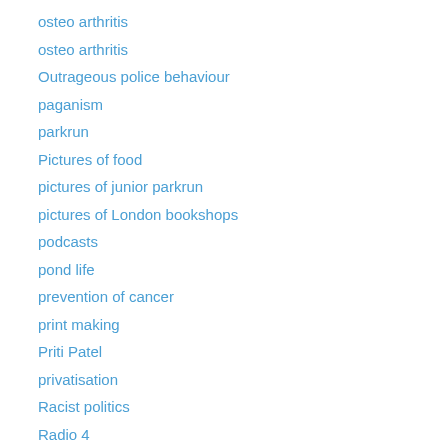osteo arthritis
osteo arthritis
Outrageous police behaviour
paganism
parkrun
Pictures of food
pictures of junior parkrun
pictures of London bookshops
podcasts
pond life
prevention of cancer
print making
Priti Patel
privatisation
Racist politics
Radio 4
religion
rightwing mindset
Robin Williams
rowing